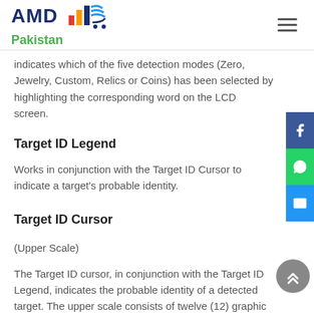AMD Pakistan
indicates which of the five detection modes (Zero, Jewelry, Custom, Relics or Coins) has been selected by highlighting the corresponding word on the LCD screen.
Target ID Legend
Works in conjunction with the Target ID Cursor to indicate a target's probable identity.
Target ID Cursor
(Upper Scale)
The Target ID cursor, in conjunction with the Target ID Legend, indicates the probable identity of a detected target. The upper scale consists of twelve (12) graphic segments for Target ID.